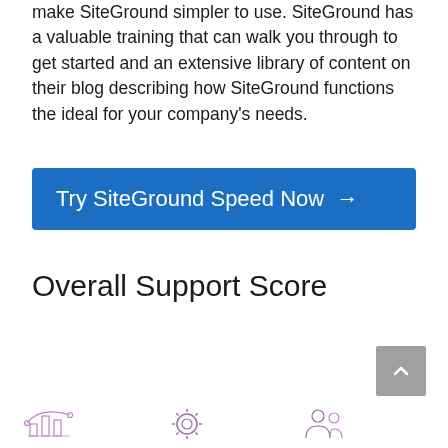make SiteGround simpler to use. SiteGround has a valuable training that can walk you through to get started and an extensive library of content on their blog describing how SiteGround functions the ideal for your company's needs.
Try SiteGround Speed Now →
Overall Support Score
[Figure (illustration): Three icons at the bottom of the page, partially visible]